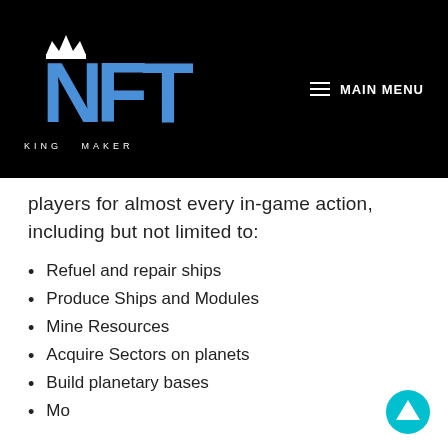[Figure (logo): NFT King Maker logo — blue stylized NFT letters with a crown icon, white 'KING MAKER' text below, on black background. Navigation bar with hamburger menu and 'MAIN MENU' text on right.]
players for almost every in-game action, including but not limited to:
Refuel and repair ships
Produce Ships and Modules
Mine Resources
Acquire Sectors on planets
Build planetary bases
Molo bb...